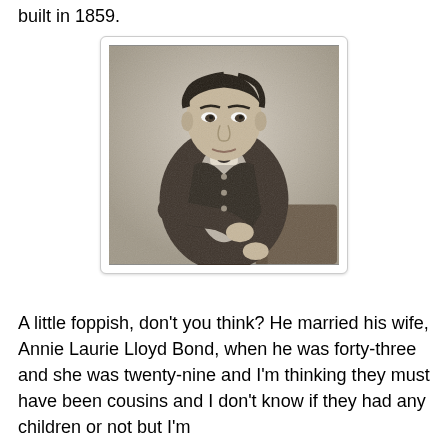built in 1859.
[Figure (photo): Black and white historical portrait photograph of a young man in 19th century attire, seated, wearing a dark coat and vest, looking at the camera.]
A little foppish, don't you think? He married his wife, Annie Laurie Lloyd Bond, when he was forty-three and she was twenty-nine and I'm thinking they must have been cousins and I don't know if they had any children or not but I'm